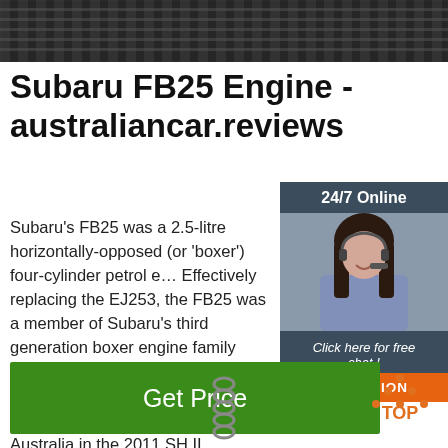[Figure (photo): Top portion of a dark ribbed surface, partially cropped]
Subaru FB25 Engine - australiancar.reviews
Subaru's FB25 was a 2.5-litre horizontally-opposed (or 'boxer') four-cylinder petrol engine. Effectively replacing the EJ253, the FB25 was a member of Subaru's third generation boxer engine family which also included the FA20D, FA20E and FA20F engines.The FB25 engine first offered in Australia in the 2011 SH.II Forester.
[Figure (photo): Sidebar advertisement with woman wearing headset, dark blue background, 24/7 Online header, Click here for free chat text, and QUOTATION orange button]
[Figure (illustration): Green Get Price button]
[Figure (illustration): TOP button with orange dots forming an upward triangle above orange TOP text]
[Figure (photo): Partial chain image at bottom center]